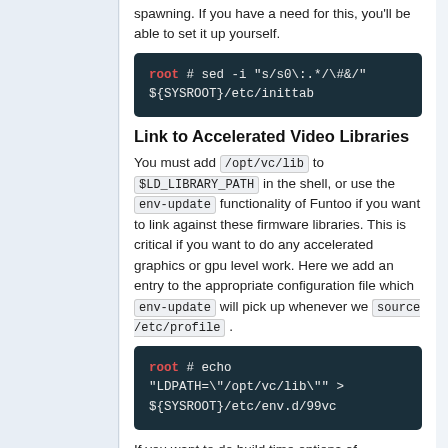spawning. If you have a need for this, you'll be able to set it up yourself.
root # sed -i "s/s0\:.*/\#&/" ${SYSROOT}/etc/inittab
Link to Accelerated Video Libraries
You must add /opt/vc/lib to $LD_LIBRARY_PATH in the shell, or use the env-update functionality of Funtoo if you want to link against these firmware libraries. This is critical if you want to do any accelerated graphics or gpu level work. Here we add an entry to the appropriate configuration file which env-update will pick up whenever we source /etc/profile .
root # echo "LDPATH=\"/opt/vc/lib\"" > ${SYSROOT}/etc/env.d/99vc
If you want to do build time options of